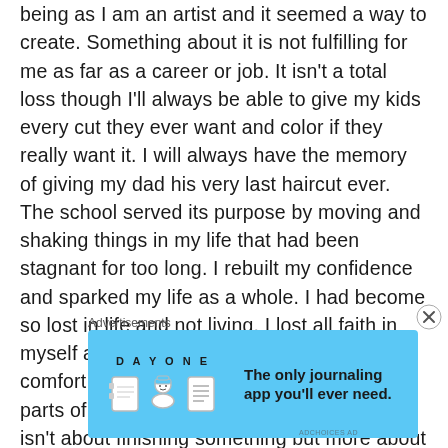being as I am an artist and it seemed a way to create. Something about it is not fulfilling for me as far as a career or job. It isn't a total loss though I'll always be able to give my kids every cut they ever want and color if they really want it. I will always have the memory of giving my dad his very last haircut ever. The school served its purpose by moving and shaking things in my life that had been stagnant for too long. I rebuilt my confidence and sparked my life as a whole. I had become so lost in life and not living, I lost all faith in myself and it pushed me so far outside of my comfort zone that I grew and remembered parts of myself I had long lost. Sometimes it isn't about finishing something but more about starting it.
Advertisements
[Figure (other): Advertisement banner for DAY ONE journaling app with light blue background. Shows app icons (notebook, person, list) on left and text 'The only journaling app you'll ever need.' on right.]